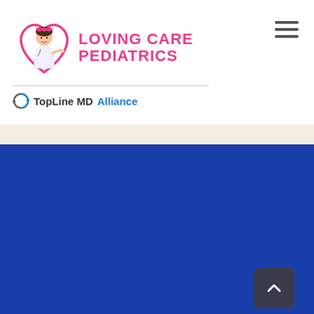[Figure (logo): Loving Care Pediatrics logo with girl in heart shape and pink text]
[Figure (logo): TopLine MD Alliance logo with circular arrows icon]
ll us and speak with a member of our team
CALL NOW